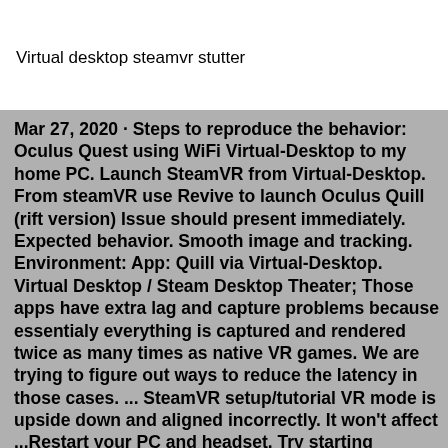Virtual desktop steamvr stutter
Mar 27, 2020 · Steps to reproduce the behavior: Oculus Quest using WiFi Virtual-Desktop to my home PC. Launch SteamVR from Virtual-Desktop. From steamVR use Revive to launch Oculus Quill (rift version) Issue should present immediately. Expected behavior. Smooth image and tracking. Environment: App: Quill via Virtual-Desktop. Virtual Desktop / Steam Desktop Theater; Those apps have extra lag and capture problems because essentialy everything is captured and rendered twice as many times as native VR games. We are trying to figure out ways to reduce the latency in those cases. ... SteamVR setup/tutorial VR mode is upside down and aligned incorrectly. It won't affect ...Restart your PC and headset. Try starting SteamVR from both the headset (Link Dash) as well as your PC. Enable "Unknown sources" in Oculus Software. Opt into SteamVR beta release.